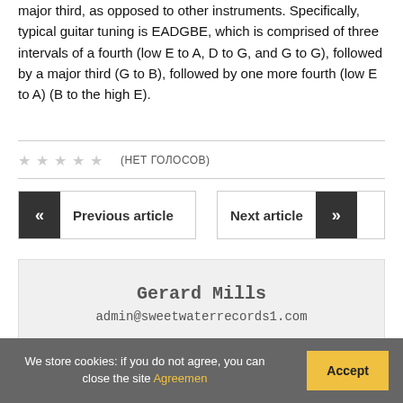major third, as opposed to other instruments. Specifically, typical guitar tuning is EADGBE, which is comprised of three intervals of a fourth (low E to A, D to G, and G to G), followed by a major third (G to B), followed by one more fourth (low E to A) (B to the high E).
★★★★★ (нет голосов)
Previous article
Next article
Gerard Mills
admin@sweetwaterrecords1.com
We store cookies: if you do not agree, you can close the site Agreemen Accept